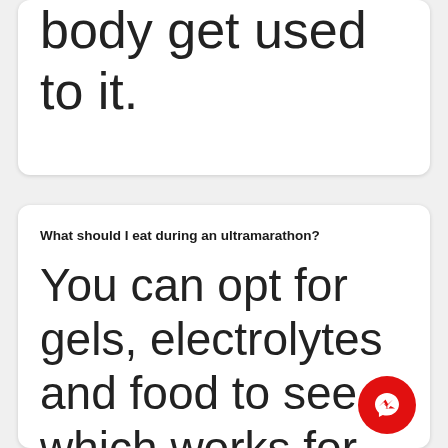body get used to it.
What should I eat during an ultramarathon?
You can opt for gels, electrolytes and food to see which works for